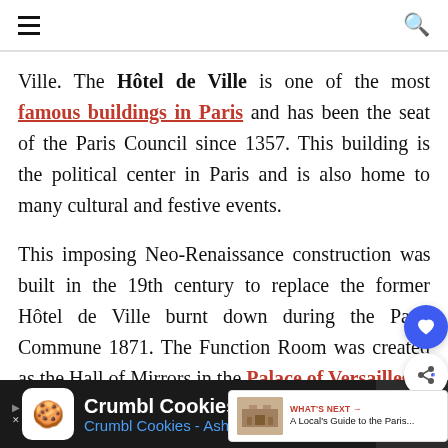Navigation bar with hamburger menu and search icon
Ville. The Hôtel de Ville is one of the most famous buildings in Paris and has been the seat of the Paris Council since 1357. This building is the political center in Paris and is also home to many cultural and festive events.
This imposing Neo-Renaissance construction was built in the 19th century to replace the former Hôtel de Ville burnt down during the Paris Commune 1871. The Function Room was created as the Hall of Mirrors in the Palace of Versailles:
[Figure (other): Crumbl Cookies advertisement banner at bottom of page]
[Figure (other): Floating action buttons: heart/favorite (blue) and share icons on right side]